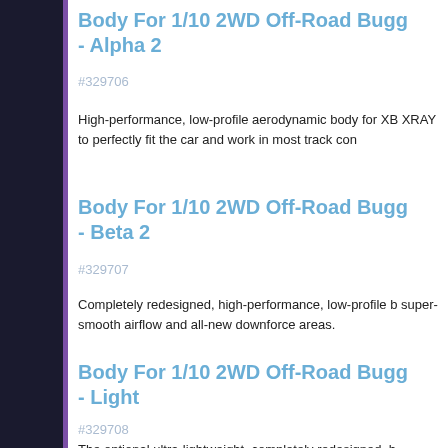Body For 1/10 2WD Off-Road Bugg- Alpha 2
#329706
High-performance, low-profile aerodynamic body for XB XRAY to perfectly fit the car and work in most track con
Body For 1/10 2WD Off-Road Bugg- Beta 2
#329707
Completely redesigned, high-performance, low-profile b super-smooth airflow and all-new downforce areas.
Body For 1/10 2WD Off-Road Bugg- Light
#329708
The optional ultra-lightweight, completely redesigned, h